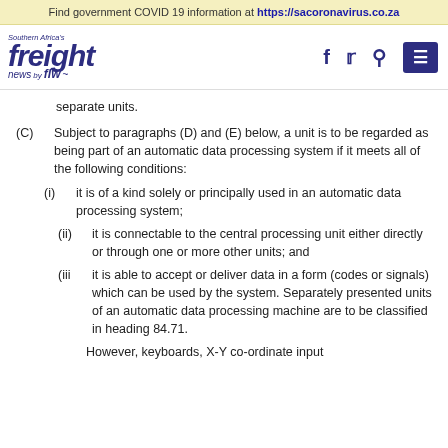Find government COVID 19 information at https://sacoronavirus.co.za
[Figure (logo): Southern Africa's Freight News by FLW logo with social media icons (Facebook, Twitter, Search) and menu button]
separate units.
(C) Subject to paragraphs (D) and (E) below, a unit is to be regarded as being part of an automatic data processing system if it meets all of the following conditions:
(i) it is of a kind solely or principally used in an automatic data processing system;
(ii) it is connectable to the central processing unit either directly or through one or more other units; and
(iii) it is able to accept or deliver data in a form (codes or signals) which can be used by the system. Separately presented units of an automatic data processing machine are to be classified in heading 84.71.
However, keyboards, X-Y co-ordinate input